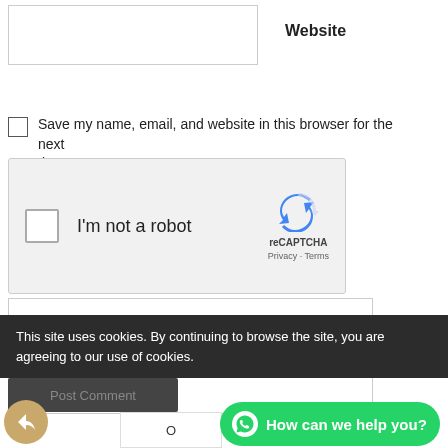[Figure (screenshot): Website text input field]
Website
Save my name, email, and website in this browser for the next time I comment.
[Figure (screenshot): reCAPTCHA widget with checkbox labeled I'm not a robot and Google reCAPTCHA logo with Privacy and Terms links]
[Figure (screenshot): Large empty comment textarea]
This site uses cookies. By continuing to browse the site, you are agreeing to our use of cookies.
[Figure (screenshot): Post Comment button (dark)]
[Figure (screenshot): WhatsApp How can we help you? chat bubble button]
[Figure (screenshot): Back/share arrow circle button]